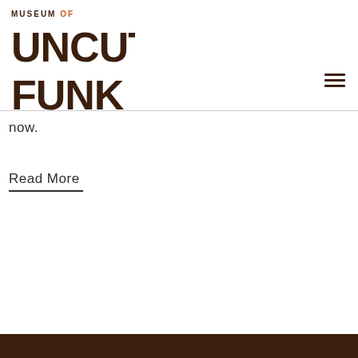[Figure (logo): Museum of Uncut Funk logo — bold dark brown block letters spelling UNCUT FUNK with 'MUSEUM OF' in smaller text above, 'OF' in orange]
now.
Read More